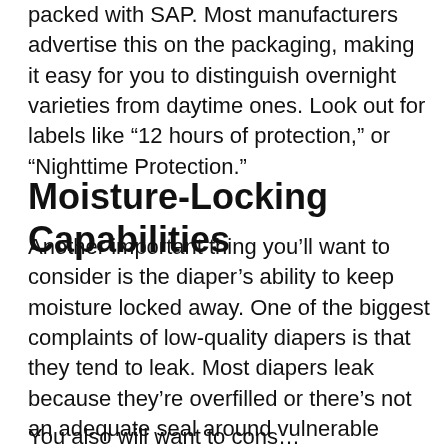packed with SAP. Most manufacturers advertise this on the packaging, making it easy for you to distinguish overnight varieties from daytime ones. Look out for labels like “12 hours of protection,” or “Nighttime Protection.”
Moisture-Locking Capabilities
Another important thing you’ll want to consider is the diaper’s ability to keep moisture locked away. One of the biggest complaints of low-quality diapers is that they tend to leak. Most diapers leak because they’re overfilled or there’s not an adequate seal around vulnerable areas.
You also will want to consider right. Another